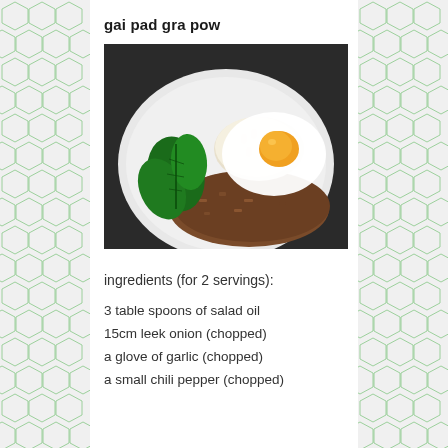gai pad gra pow
[Figure (photo): A white plate with Thai basil chicken (gai pad gra pow) served with rice and a fried egg on top, garnished with fresh Thai basil leaves]
ingredients (for 2 servings):
3 table spoons of salad oil
15cm leek onion (chopped)
a glove of garlic (chopped)
a small chili pepper (chopped)